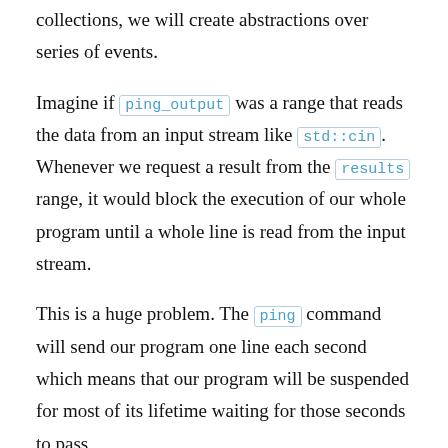collections, we will create abstractions over series of events.
Imagine if ping_output was a range that reads the data from an input stream like std::cin. Whenever we request a result from the results range, it would block the execution of our whole program until a whole line is read from the input stream.
This is a huge problem. The ping command will send our program one line each second which means that our program will be suspended for most of its lifetime waiting for those seconds to pass,
Instead, if would be better if it could continue working on other tasks until the ping command sends it the new data.